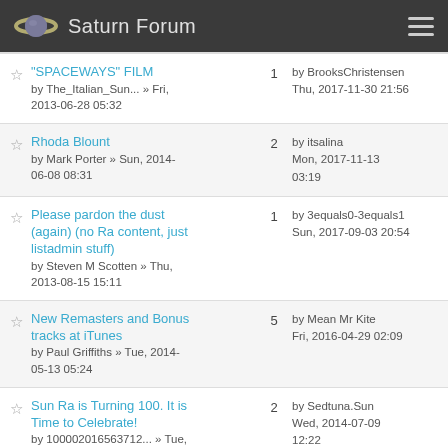Saturn Forum
"SPACEWAYS" FILM by The_Italian_Sun... » Fri, 2013-06-28 05:32 | 1 | by BrooksChristensen Thu, 2017-11-30 21:56
Rhoda Blount by Mark Porter » Sun, 2014-06-08 08:31 | 2 | by itsalina Mon, 2017-11-13 03:19
Please pardon the dust (again) (no Ra content, just listadmin stuff) by Steven M Scotten » Thu, 2013-08-15 15:11 | 1 | by 3equals0-3equals1 Sun, 2017-09-03 20:54
New Remasters and Bonus tracks at iTunes by Paul Griffiths » Tue, 2014-05-13 05:24 | 5 | by Mean Mr Kite Fri, 2016-04-29 02:09
Sun Ra is Turning 100. It is Time to Celebrate! by 100002016563712... » Tue, 2014-04-29 17:01 | 2 | by Sedtuna.Sun Wed, 2014-07-09 12:22